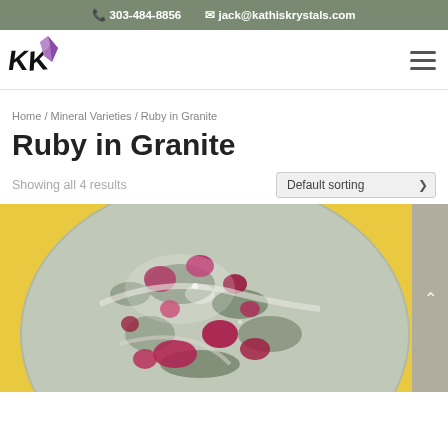303-484-8856  jack@kathiskrystals.com
[Figure (logo): Kathi's Krystals logo with stylized KK and purple crystal graphic]
Breadcrumb: Home / Mineral Varieties / Ruby in Granite
Ruby in Granite
Showing all 4 results
[Figure (photo): Close-up photo of a Ruby in Granite polished sphere showing pink/red ruby crystals embedded in gray-green granite matrix, on a yellow background]